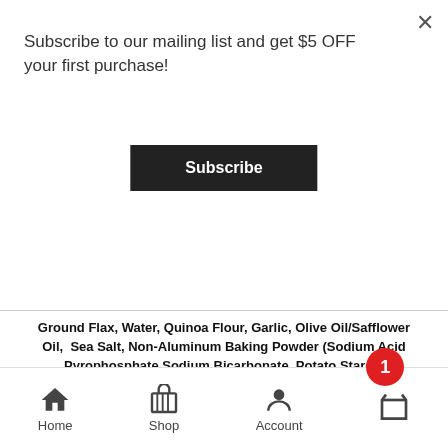Subscribe to our mailing list and get $5 OFF your first purchase!
Subscribe
Ground Flax, Water, Quinoa Flour, Garlic, Olive Oil/Safflower Oil,  Sea Salt, Non-Aluminum Baking Powder (Sodium Acid Pyrophosphate,Sodium Bicarbonate, Potato Starch, Monocalcium Phosphate)Cultured Brown Rice Flour, Ascorbic acid.
- 1 +
Details
Add to cart
Home  Shop  Account  [cart]